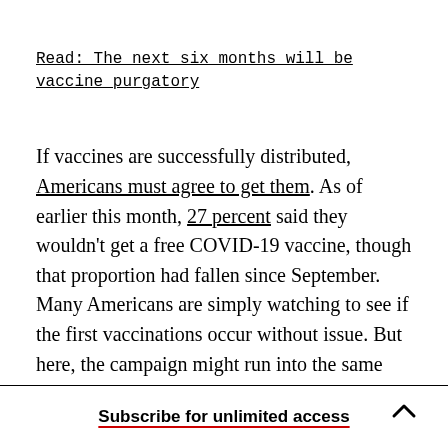Read: The next six months will be vaccine purgatory
If vaccines are successfully distributed, Americans must agree to get them. As of earlier this month, 27 percent said they wouldn't get a free COVID-19 vaccine, though that proportion had fallen since September. Many Americans are simply watching to see if the first vaccinations occur without issue. But here, the campaign might run into the same
Subscribe for unlimited access